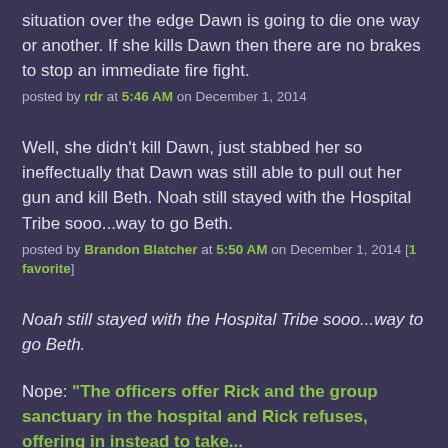situation over the edge Dawn is going to die one way or another. If she kills Dawn then there are no brakes to stop an immediate fire fight.
posted by rdr at 5:46 AM on December 1, 2014
Well, she didn't kill Dawn, just stabbed her so ineffectually that Dawn was still able to pull out her gun and kill Beth. Noah still stayed with the Hospital Tribe sooo...way to go Beth.
posted by Brandon Blatcher at 5:50 AM on December 1, 2014 [1 favorite]
Noah still stayed with the Hospital Tribe sooo...way to go Beth.
Nope: "The officers offer Rick and the group sanctuary in the hospital and Rick refuses, offering in instead to take..."